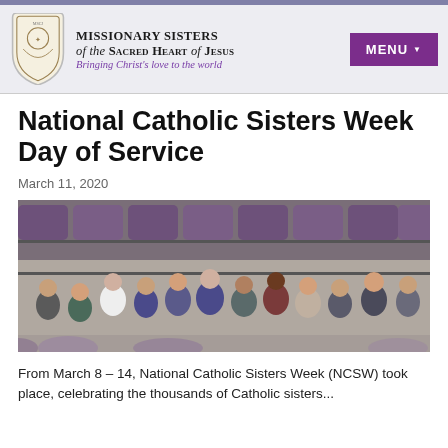Missionary Sisters of the Sacred Heart of Jesus — Bringing Christ's love to the world
National Catholic Sisters Week Day of Service
March 11, 2020
[Figure (photo): Group photo of women volunteers smiling and holding items in a warehouse/storage area with shelves of purple bags in the background, taken at a National Catholic Sisters Week Day of Service event.]
From March 8 – 14, National Catholic Sisters Week (NCSW) took place, celebrating the thousands of Catholic sisters...